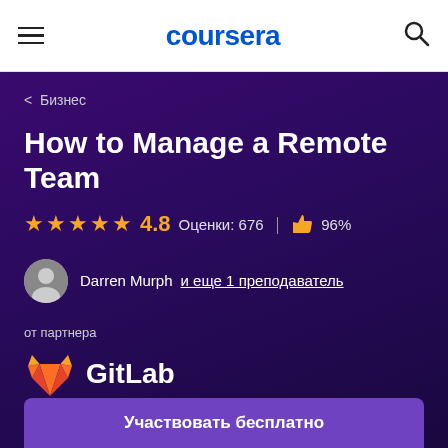coursera
< Бизнес
How to Manage a Remote Team
★★★★★ 4.8  Оценки: 676  |  👍 96%
Darren Murph  и еще 1 преподаватель
от партнера
[Figure (logo): GitLab logo - orange fox/shield icon with GitLab text in white]
Участвовать бесплатно